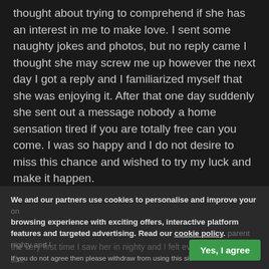thought about trying to comprehend if she has an interest in me to make love. I sent some naughty jokes and photos, but no reply came I thought she may screw me up however the next day I got a reply and I familiarized myself that she was enjoying it. After that one day suddenly she sent out a message nobody a home sensation tired if you are totally free can you come. I was so happy and I do not desire to miss this chance and wished to try my luck and make it happen.
tantra happy ending massage Denby Village , thai sensual massage Denby Village
We and our partners use cookies to personalise and improve your browsing experience with exciting offers, interactive platform features and targeted advertising. Read our cookie policy. If you do not agree then please withdraw from using this site.